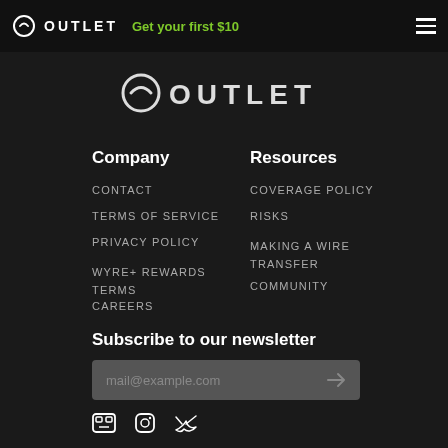OUTLET — Get your first $10
[Figure (logo): Outlet logo large centered watermark]
Company
CONTACT
TERMS OF SERVICE
PRIVACY POLICY
WYRE+ REWARDS TERMS
CAREERS
Resources
COVERAGE POLICY
RISKS
MAKING A WIRE TRANSFER
COMMUNITY
Subscribe to our newsletter
mail@example.com